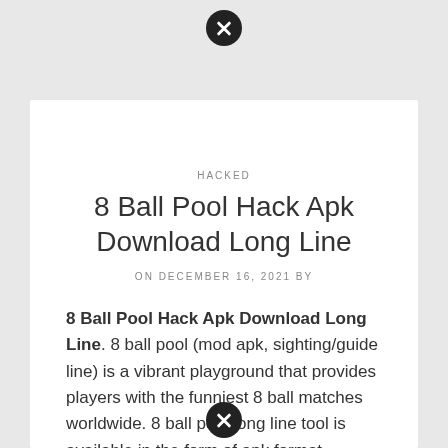HACKED
8 Ball Pool Hack Apk Download Long Line
ON DECEMBER 16, 2021 BY
8 Ball Pool Hack Apk Download Long Line. 8 ball pool (mod apk, sighting/guide line) is a vibrant playground that provides players with the funniest 8 ball matches worldwide. 8 ball pool long line tool is available in the form of apk format.